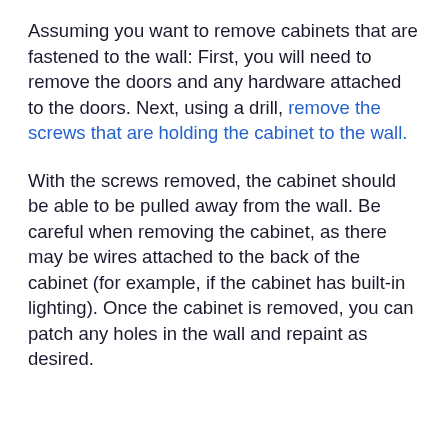Assuming you want to remove cabinets that are fastened to the wall: First, you will need to remove the doors and any hardware attached to the doors. Next, using a drill, remove the screws that are holding the cabinet to the wall.
With the screws removed, the cabinet should be able to be pulled away from the wall. Be careful when removing the cabinet, as there may be wires attached to the back of the cabinet (for example, if the cabinet has built-in lighting). Once the cabinet is removed, you can patch any holes in the wall and repaint as desired.